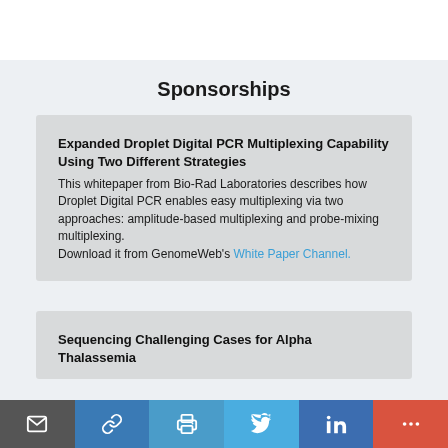Sponsorships
Expanded Droplet Digital PCR Multiplexing Capability Using Two Different Strategies
This whitepaper from Bio-Rad Laboratories describes how Droplet Digital PCR enables easy multiplexing via two approaches: amplitude-based multiplexing and probe-mixing multiplexing.
Download it from GenomeWeb's White Paper Channel.
Sequencing Challenging Cases for Alpha Thalassemia